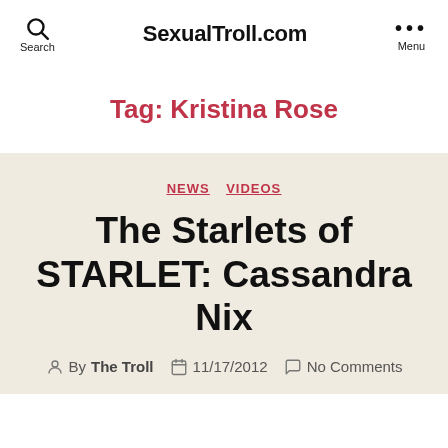SexualTroll.com
Tag: Kristina Rose
NEWS  VIDEOS
The Starlets of STARLET: Cassandra Nix
By The Troll  11/17/2012  No Comments